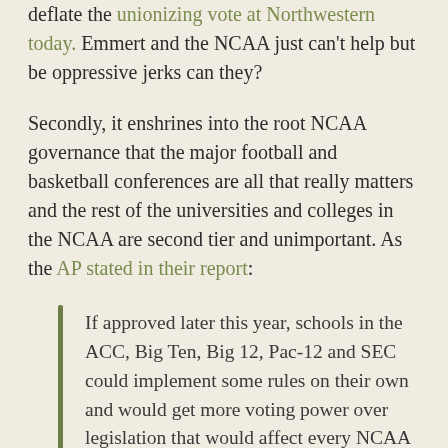deflate the unionizing vote at Northwestern today. Emmert and the NCAA just can't help but be oppressive jerks can they?
Secondly, it enshrines into the root NCAA governance that the major football and basketball conferences are all that really matters and the rest of the universities and colleges in the NCAA are second tier and unimportant. As the AP stated in their report:
If approved later this year, schools in the ACC, Big Ten, Big 12, Pac-12 and SEC could implement some rules on their own and would get more voting power over legislation that would affect every NCAA member school.